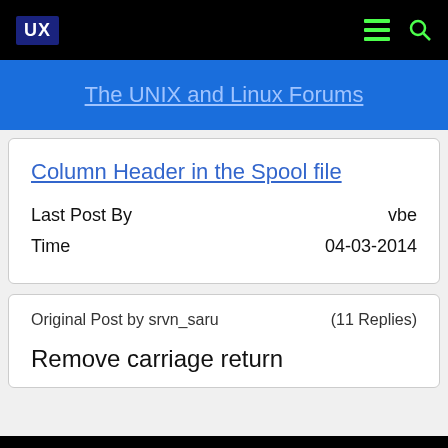UX  [menu icon] [search icon]
The UNIX and Linux Forums
Column Header in the Spool file
Last Post By    vbe
Time    04-03-2014
Original Post by srvn_saru    (11 Replies)
Remove carriage return